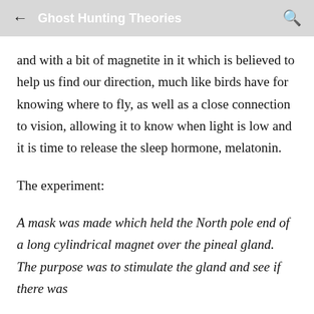Ghost Hunting Theories
and with a bit of magnetite in it which is believed to help us find our direction, much like birds have for knowing where to fly, as well as a close connection to vision, allowing it to know when light is low and it is time to release the sleep hormone, melatonin.
The experiment:
A mask was made which held the North pole end of a long cylindrical magnet over the pineal gland. The purpose was to stimulate the gland and see if there was